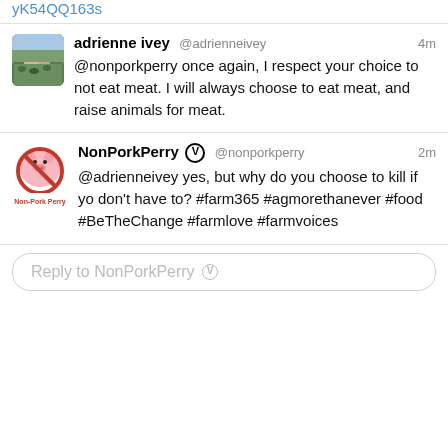yK54QQ163s
[Figure (screenshot): Twitter profile avatar for adrienne ivey – outdoor photo with cattle]
adrienne ivey @adrienneivey 4m
@nonporkperry once again, I respect your choice to not eat meat. I will always choose to eat meat, and raise animals for meat.
[Figure (logo): NonPorkPerry avatar – cartoon pig with red no-pork circle slash logo, labeled Non-Pork Perry]
NonPorkPerry ⓥ @nonporkperry 2m
@adrienneivey yes, but why do you choose to kill if yo don't have to? #farm365 #agmorethanever #food #BeTheChange #farmlove #farmvoices
Reply to NonPorkPerry ⓥ